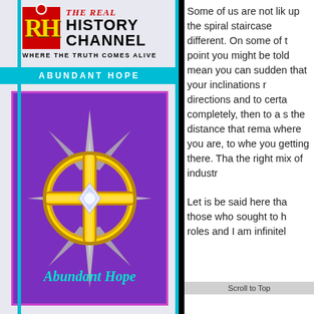[Figure (logo): The Real History Channel logo with RH letters in red box and HISTORY CHANNEL text, tagline WHERE THE TRUTH COMES ALIVE]
ABUNDANT HOPE
[Figure (illustration): Abundant Hope logo: golden compass star with purple background and cursive Abundant Hope text]
Some of us are not like... up the spiral staircase... different. On some of t... point you might be told... mean you can sudden... that your inclinations r... directions and to certa... completely, then to a s... the distance that rema... where you are, to whe... you getting there. Tha... the right mix of industr...
Let is be said here tha... those who sought to h... roles and I am infinitel...